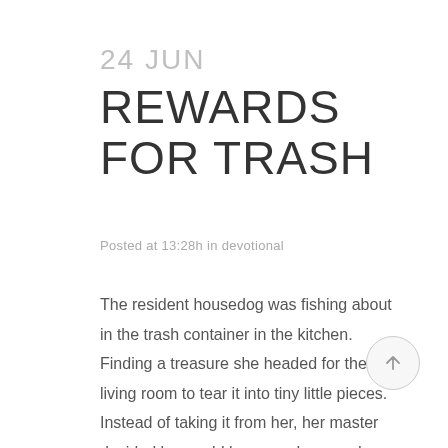24 JUN
REWARDS FOR TRASH
Posted at 13:28h in devotional
The resident housedog was fishing about in the trash container in the kitchen.  Finding a treasure she headed for the living room to tear it into tiny little pieces.  Instead of taking it from her, her master decided he would be a good guy and...